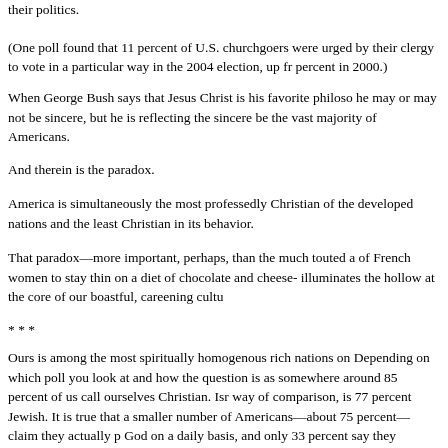their politics.
(One poll found that 11 percent of U.S. churchgoers were urged by their clergy to vote in a particular way in the 2004 election, up from percent in 2000.)
When George Bush says that Jesus Christ is his favorite philosopher he may or may not be sincere, but he is reflecting the sincere beliefs of the vast majority of Americans.
And therein is the paradox.
America is simultaneously the most professedly Christian of the developed nations and the least Christian in its behavior.
That paradox—more important, perhaps, than the much touted ability of French women to stay thin on a diet of chocolate and cheese— illuminates the hollow at the core of our boastful, careening culture.
* * *
Ours is among the most spiritually homogenous rich nations on earth. Depending on which poll you look at and how the question is asked, somewhere around 85 percent of us call ourselves Christian. Israel, by way of comparison, is 77 percent Jewish. It is true that a smaller number of Americans—about 75 percent— claim they actually pray to God on a daily basis, and only 33 percent say they manage to get to church every week.
Still, even if that 85 percent overstates actual practice, it clearly